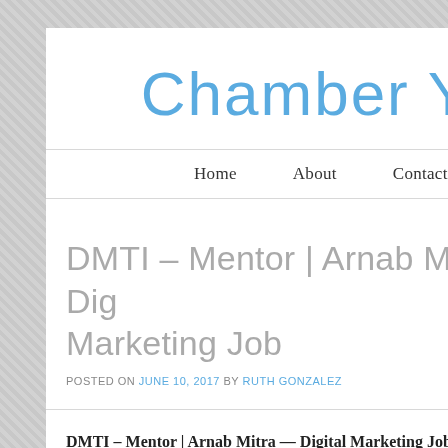Chamber Y
Home   About   Contact
DMTI – Mentor | Arnab Mitra — Digital Marketing Job
POSTED ON JUNE 10, 2017 BY RUTH GONZALEZ
DMTI – Mentor | Arnab Mitra — Digital Marketing Job